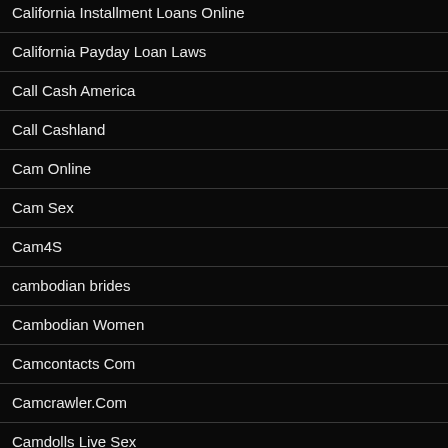California Installment Loans Online
California Payday Loan Laws
Call Cash America
Call Cashland
Cam Online
Cam Sex
Cam4S
cambodian brides
Cambodian Women
Camcontacts Com
Camcrawler.Com
Camdolls Live Sex
Camdolls.Com